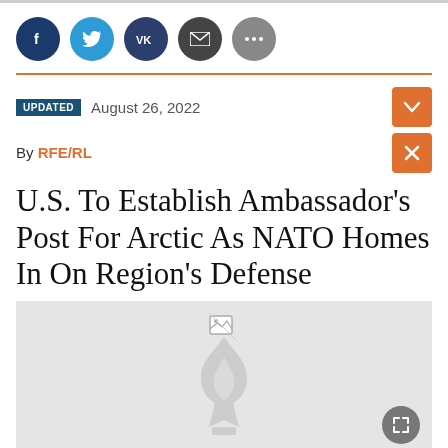[Figure (other): Social media share icons: Facebook (dark blue), Twitter (blue), VK (dark blue), Email (dark), More (gray)]
UPDATED  August 26, 2022
By RFE/RL
U.S. To Establish Ambassador's Post For Arctic As NATO Homes In On Region's Defense
[Figure (illustration): Gray placeholder image area with a faint RFE/RL torch logo watermark in the center and a broken image icon at top center. An expand button (fullscreen icon) appears at bottom right.]